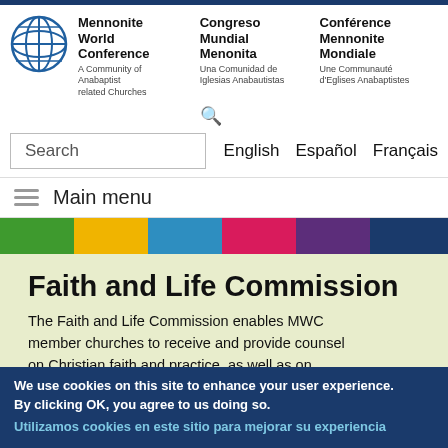[Figure (logo): Mennonite World Conference circular logo with cross and globe design]
Mennonite World Conference — A Community of Anabaptist related Churches | Congreso Mundial Menonita — Una Comunidad de Iglesias Anabautistas | Conférence Mennonite Mondiale — Une Communauté d'Eglises Anabaptistes
Search  English  Español  Français
Main menu
Faith and Life Commission
The Faith and Life Commission enables MWC member churches to receive and provide counsel on Christian faith and practice, as well as on Anabaptist-Mennonite witness in the world today.
We use cookies on this site to enhance your user experience. By clicking OK, you agree to us doing so.
Utilizamos cookies en este sitio para mejorar su experiencia